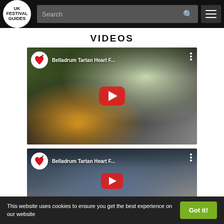[Figure (screenshot): UK Festival Guides website header with logo, search bar, and hamburger menu on dark background]
VIDEOS
[Figure (screenshot): YouTube video thumbnail showing Belladrum Tartan Heart Festival - outdoor festival crowd with tents, with YouTube play button overlay and channel icon]
[Figure (screenshot): YouTube video thumbnail showing Belladrum Tartan Heart Festival - crowd of festival-goers, with YouTube play button overlay and channel icon]
This website uses cookies to ensure you get the best experience on our website